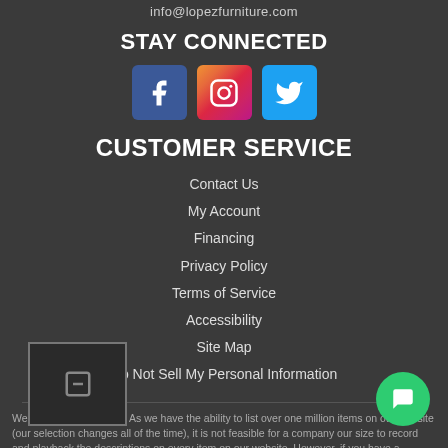info@lopezfurniture.com
STAY CONNECTED
[Figure (illustration): Social media icons: Facebook (blue), Instagram (gradient), Twitter (light blue)]
CUSTOMER SERVICE
Contact Us
My Account
Financing
Privacy Policy
Terms of Service
Accessibility
Site Map
Do Not Sell My Personal Information
Welcome to our website! As we have the ability to list over one million items on our website (our selection changes all of the time), it is not feasible for a company our size to record and playback the descriptions on every item on our website. However, if you have a disability we are here to help you. Please call our disability services phone line at (225) 312-5256 during